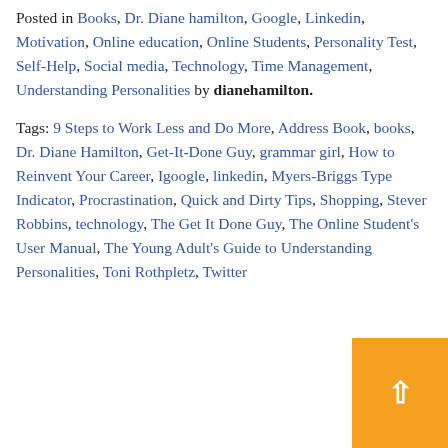Posted in Books, Dr. Diane hamilton, Google, Linkedin, Motivation, Online education, Online Students, Personality Test, Self-Help, Social media, Technology, Time Management, Understanding Personalities by dianehamilton.
Tags: 9 Steps to Work Less and Do More, Address Book, books, Dr. Diane Hamilton, Get-It-Done Guy, grammar girl, How to Reinvent Your Career, Igoogle, linkedin, Myers-Briggs Type Indicator, Procrastination, Quick and Dirty Tips, Shopping, Stever Robbins, technology, The Get It Done Guy, The Online Student's User Manual, The Young Adult's Guide to Understanding Personalities, Toni Rothpletz, Twitter